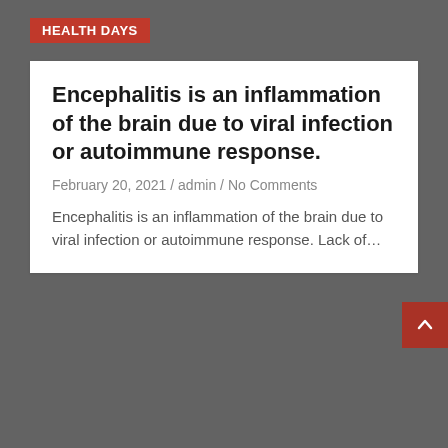HEALTH DAYS
Encephalitis is an inflammation of the brain due to viral infection or autoimmune response.
February 20, 2021 / admin / No Comments
Encephalitis is an inflammation of the brain due to viral infection or autoimmune response. Lack of…
[Figure (screenshot): Dark gray background section at the bottom of the page with a red scroll-to-top arrow button in the bottom right corner]